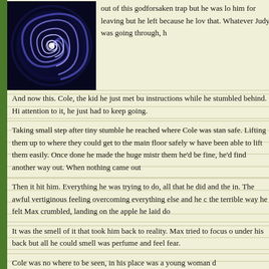[Figure (illustration): A dark blue/navy square image featuring a glowing spiral or vortex design in purple and white, centered on a dark background.]
out of this godforsaken trap but he was lo him for leaving but he left because he lov that. Whatever Judy was going through, h
And now this. Cole, the kid he just met bu instructions while he stumbled behind. Hi attention to it, he just had to keep going.
Taking small step after tiny stumble he reached where Cole was stan safe. Lifting them up to where they could get to the main floor safely w have been able to lift them easily. Once done he made the huge mistr them he'd be fine, he'd find another way out. When nothing came out
Then it hit him. Everything he was trying to do, all that he did and the in. The awful vertiginous feeling overcoming everything else and he c the terrible way he felt Max crumbled, landing on the apple he laid do
It was the smell of it that took him back to reality. Max tried to focus o under his back but all he could smell was perfume and feel fear.
Cole was no where to be seen, in his place was a young woman d